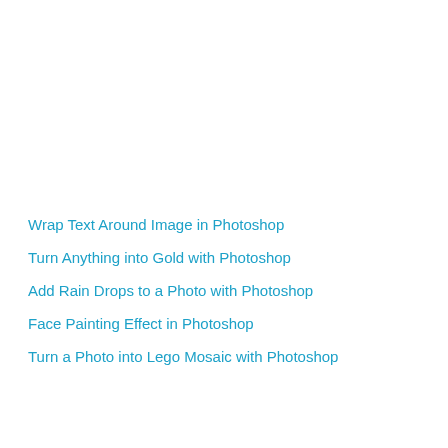Wrap Text Around Image in Photoshop
Turn Anything into Gold with Photoshop
Add Rain Drops to a Photo with Photoshop
Face Painting Effect in Photoshop
Turn a Photo into Lego Mosaic with Photoshop
[Figure (screenshot): Advertisement banner showing Topgolf logo with Dine-in checkmark and Delivery X mark, navigation arrow icon, and play/close icons below]